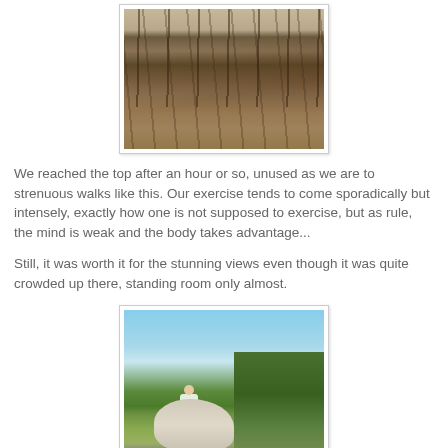[Figure (photo): A forest trail through sparse dry trees and rocky terrain, taken from ground level looking up through twisted bare branches.]
We reached the top after an hour or so, unused as we are to strenuous walks like this. Our exercise tends to come sporadically but intensely, exactly how one is not supposed to exercise, but as rule, the mind is weak and the body takes advantage...
Still, it was worth it for the stunning views even though it was quite crowded up there, standing room only almost.
[Figure (photo): A person climbing or crouching on rocky summit with trees and blue sky visible in background.]